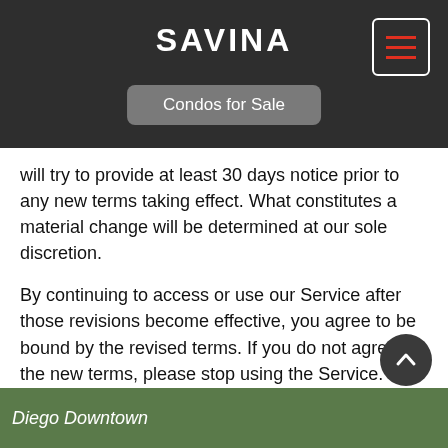SAVINA
Condos for Sale
will try to provide at least 30 days notice prior to any new terms taking effect. What constitutes a material change will be determined at our sole discretion.
By continuing to access or use our Service after those revisions become effective, you agree to be bound by the revised terms. If you do not agree to the new terms, please stop using the Service.
Contact Us
If you have any questions about these Terms, please contact us.
Diego Downtown